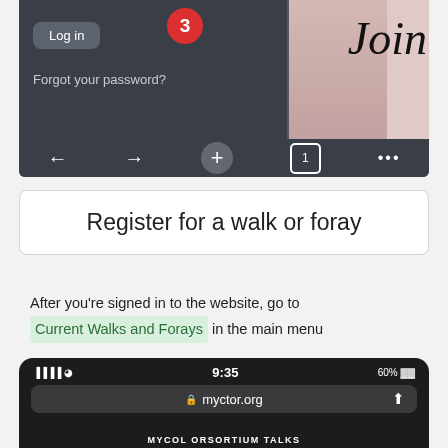[Figure (screenshot): Mobile browser screenshot showing a login interface with 'Log in' button, notification badge with number 3, 'Forgot your password?' text, a partially visible 'Join' text on a pink/bakery background, and browser navigation bar with back/forward arrows, plus button, tab counter showing 1, and menu dots.]
Register for a walk or foray
After you're signed in to the website, go to Current Walks and Forays in the main menu
[Figure (screenshot): Mobile browser screenshot showing status bar with signal, wifi, time 9:35, 60% battery, URL bar showing myctor.org with lock icon and share button, and partial page header text 'MYCOL ORSORTIUM TALKS'.]